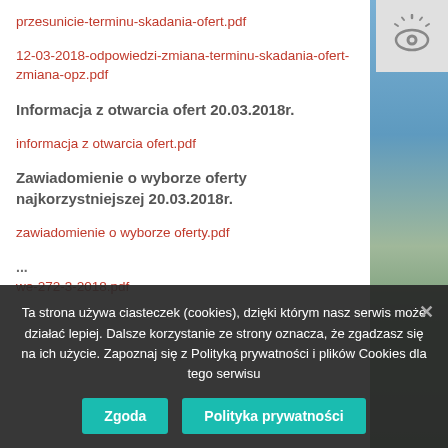przesunicie-terminu-skadania-ofert.pdf
12-03-2018-odpowiedzi-zmiana-terminu-skadania-ofert-zmiana-opz.pdf
Informacja z otwarcia ofert 20.03.2018r.
informacja z otwarcia ofert.pdf
Zawiadomienie o wyborze oferty najkorzystniejszej 20.03.2018r.
zawiadomienie o wyborze oferty.pdf
we-272-3-2018.pdf
Ta strona używa ciasteczek (cookies), dzięki którym nasz serwis może działać lepiej. Dalsze korzystanie ze strony oznacza, że zgadzasz się na ich użycie. Zapoznaj się z Polityką prywatności i plików Cookies dla tego serwisu